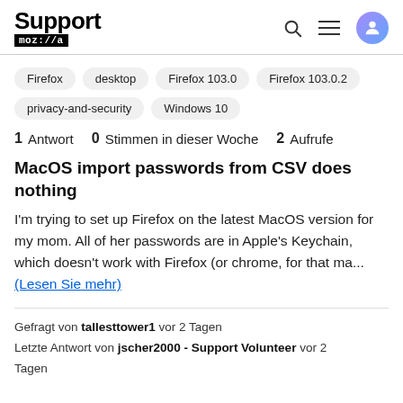Support mozilla
Firefox
desktop
Firefox 103.0
Firefox 103.0.2
privacy-and-security
Windows 10
1 Antwort  0 Stimmen in dieser Woche  2 Aufrufe
MacOS import passwords from CSV does nothing
I'm trying to set up Firefox on the latest MacOS version for my mom. All of her passwords are in Apple's Keychain, which doesn't work with Firefox (or chrome, for that ma... (Lesen Sie mehr)
Gefragt von tallesttower1 vor 2 Tagen
Letzte Antwort von jscher2000 - Support Volunteer vor 2 Tagen